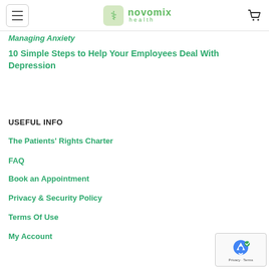Novomix Health
(partial link text, cropped)
10 Simple Steps to Help Your Employees Deal With Depression
USEFUL INFO
The Patients' Rights Charter
FAQ
Book an Appointment
Privacy & Security Policy
Terms Of Use
My Account